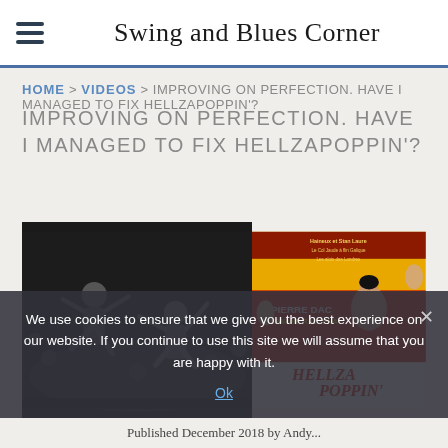Swing and Blues Corner
HOME > VIDEOS > IMPROVING ON PERFECTION. HAVE I MANAGED TO FIX HELLZAPOPPIN'?
IMPROVING ON PERFECTION. HAVE I MANAGED TO FIX HELLZAPOPPIN'?
[Figure (photo): Left: black-and-white photo of swing dancers performing energetic lindy hop moves in a crowded venue. Right: colorful vintage French movie poster for 'Hellzapoppin' featuring Pierre Dac and Fernand Rauzena.]
We use cookies to ensure that we give you the best experience on our website. If you continue to use this site we will assume that you are happy with it.
Ok
Published December 2018 by Andy...